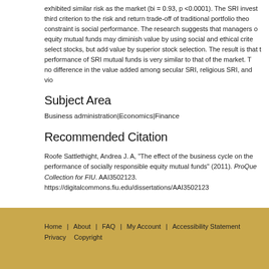exhibited similar risk as the market (bi = 0.93, p <0.0001). The SRI invest third criterion to the risk and return trade-off of traditional portfolio theo constraint is social performance. The research suggests that managers o equity mutual funds may diminish value by using social and ethical crite select stocks, but add value by superior stock selection. The result is that performance of SRI mutual funds is very similar to that of the market. T no difference in the value added among secular SRI, religious SRI, and vio
Subject Area
Business administration|Economics|Finance
Recommended Citation
Roofe Sattlethight, Andrea J. A, "The effect of the business cycle on the performance of socially responsible equity mutual funds" (2011). ProQuest Collection for FIU. AAI3502123. https://digitalcommons.fiu.edu/dissertations/AAI3502123
Home | About | FAQ | My Account | Accessibility Statement Privacy Copyright